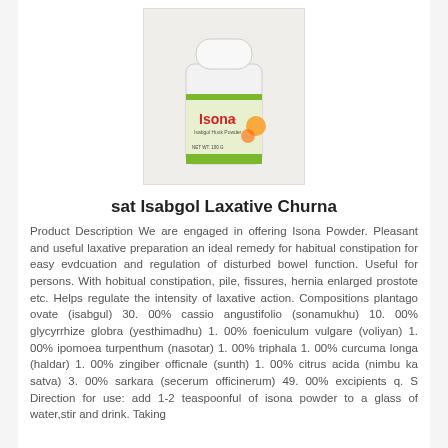[Figure (photo): White plastic bottle of Isona powder with green and orange label showing the brand name 'Isona' and fruit imagery]
sat Isabgol Laxative Churna
Product Description We are engaged in offering Isona Powder. Pleasant and useful laxative preparation an ideal remedy for habitual constipation for easy evdcuation and regulation of disturbed bowel function. Useful for persons. With hobitual constipation, pile, fissures, hernia enlarged prostote etc. Helps regulate the intensity of laxative action. Compositions plantago ovate (isabgul) 30. 00% cassio angustifolio (sonamukhu) 10. 00% glycyrrhize globra (yesthimadhu) 1. 00% foeniculum vulgare (voliyan) 1. 00% ipomoea turpenthum (nasotar) 1. 00% triphala 1. 00% curcuma longa (haldar) 1. 00% zingiber officnale (sunth) 1. 00% citrus acida (nimbu ka satva) 3. 00% sarkara (secerum officinerum) 49. 00% excipients q. S Direction for use: add 1-2 teaspoonful of isona powder to a glass of water,stir and drink. Taking